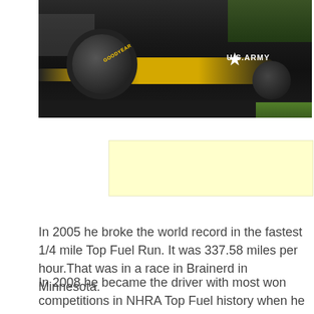[Figure (photo): A U.S. Army sponsored Top Fuel dragster on a drag racing track. The car is black and yellow with a large front tire, long chassis, and U.S. Army branding including a star logo. Trees and crowd visible in background.]
[Figure (other): Light yellow advertisement banner placeholder]
In 2005 he broke the world record in the fastest 1/4 mile Top Fuel Run. It was 337.58 miles per hour.That was in a race in Brainerd in Minnesota.
In 2008 he became the driver with most won competitions in NHRA Top Fuel history when he landed his 53rd victory